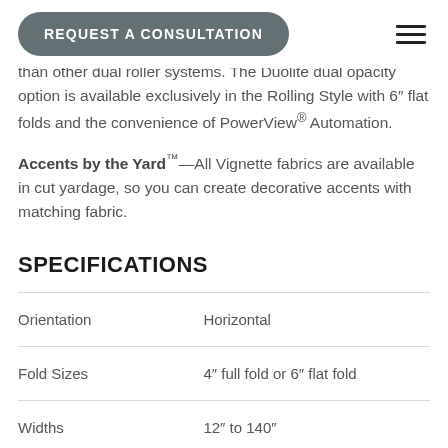REQUEST A CONSULTATION
than other dual roller systems. The Duolite dual opacity option is available exclusively in the Rolling Style with 6" flat folds and the convenience of PowerView® Automation.
Accents by the Yard™—All Vignette fabrics are available in cut yardage, so you can create decorative accents with matching fabric.
SPECIFICATIONS
|  |  |
| --- | --- |
| Orientation | Horizontal |
| Fold Sizes | 4" full fold or 6" flat fold |
| Widths | 12" to 140" |